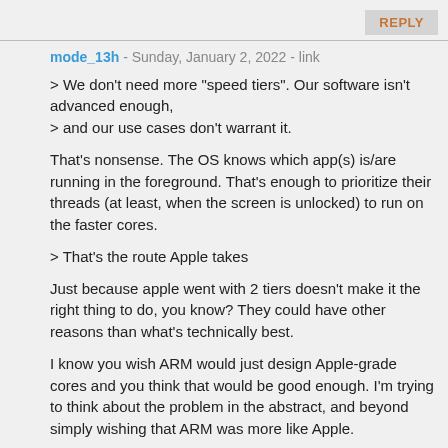REPLY
mode_13h - Sunday, January 2, 2022 - link
> We don't need more "speed tiers". Our software isn't advanced enough,
> and our use cases don't warrant it.
That's nonsense. The OS knows which app(s) is/are running in the foreground. That's enough to prioritize their threads (at least, when the screen is unlocked) to run on the faster cores.
> That's the route Apple takes
Just because apple went with 2 tiers doesn't make it the right thing to do, you know? They could have other reasons than what's technically best.
I know you wish ARM would just design Apple-grade cores and you think that would be good enough. I'm trying to think about the problem in the abstract, and beyond simply wishing that ARM was more like Apple.